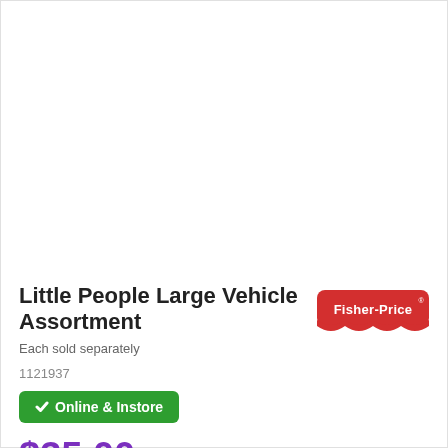[Figure (other): Navigation arrows (left and right) on pink circular buttons, image carousel area (blank white product image area)]
Little People Large Vehicle Assortment
[Figure (logo): Fisher-Price brand logo — red rounded rectangle with white text 'Fisher-Price' and decorative wave on bottom]
Each sold separately
1121937
✓ Online & Instore
$35.00  Don't Pay $37.99